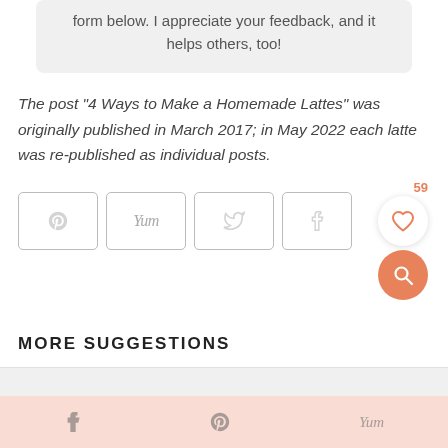form below. I appreciate your feedback, and it helps others, too!
The post “4 Ways to Make a Homemade Lattes” was originally published in March 2017; in May 2022 each latte was re-published as individual posts.
[Figure (other): Social share buttons row: Pinterest (P icon), Yum, Twitter (bird icon), Facebook (f icon), with a heart/like circle button showing 59 and an orange search circle button]
MORE SUGGESTIONS
[Figure (other): Bottom share bar with Facebook, Pinterest, and Yum icons on a peach/salmon background]